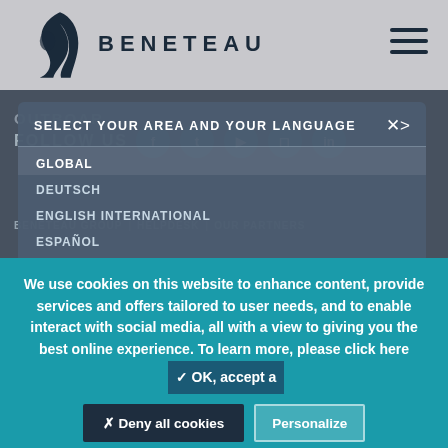[Figure (logo): Beneteau sailing horse logo and company name BENETEAU]
[Figure (screenshot): Language selector modal overlay showing SELECT YOUR AREA AND YOUR LANGUAGE with options GLOBAL, DEUTSCH, ENGLISH INTERNATIONAL, ESPAÑOL]
FOLLOW US
BENETEAU GROUP | HELPDESK | OUR PARTNERS
We use cookies on this website to enhance content, provide services and offers tailored to user needs, and to enable interact with social media, all with a view to giving you the best online experience. To learn more, please click here
✓ OK, accept a
✗ Deny all cookies
Personalize